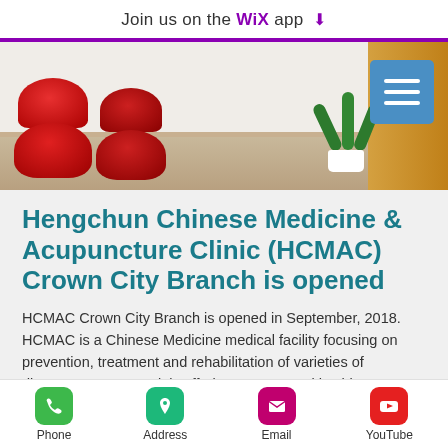Join us on the WiX app
[Figure (photo): Reception waiting area with red chairs, white plant pot, wooden panel on the right, and a blue hamburger menu button overlay]
Hengchun Chinese Medicine & Acupuncture Clinic (HCMAC) Crown City Branch is opened
HCMAC Crown City Branch is opened in September, 2018. HCMAC is a Chinese Medicine medical facility focusing on prevention, treatment and rehabilitation of varieties of diseases. We are mainly offering treatment with Chinese herbal medicine and acupuncture.
Phone | Address | Email | YouTube